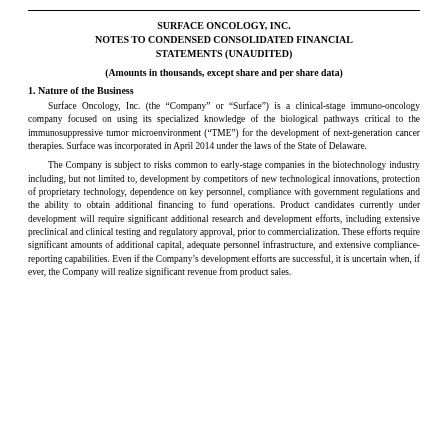SURFACE ONCOLOGY, INC.
NOTES TO CONDENSED CONSOLIDATED FINANCIAL STATEMENTS (UNAUDITED)
(Amounts in thousands, except share and per share data)
1. Nature of the Business
Surface Oncology, Inc. (the “Company” or “Surface”) is a clinical-stage immuno-oncology company focused on using its specialized knowledge of the biological pathways critical to the immunosuppressive tumor microenvironment (“TME”) for the development of next-generation cancer therapies. Surface was incorporated in April 2014 under the laws of the State of Delaware.
The Company is subject to risks common to early-stage companies in the biotechnology industry including, but not limited to, development by competitors of new technological innovations, protection of proprietary technology, dependence on key personnel, compliance with government regulations and the ability to obtain additional financing to fund operations. Product candidates currently under development will require significant additional research and development efforts, including extensive preclinical and clinical testing and regulatory approval, prior to commercialization. These efforts require significant amounts of additional capital, adequate personnel infrastructure, and extensive compliance-reporting capabilities. Even if the Company’s development efforts are successful, it is uncertain when, if ever, the Company will realize significant revenue from product sales.